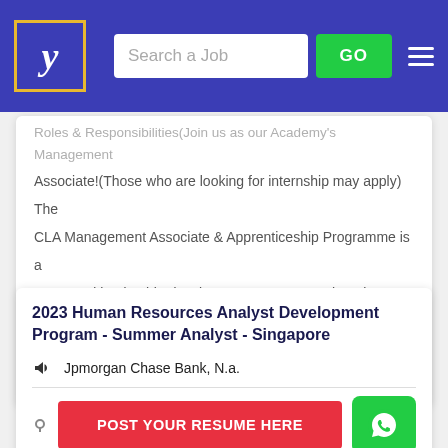Job search portal header with logo, search bar, GO button, and hamburger menu
Roles & Responsibilities(Join us as our Academy's Management Associate!(Those who are looking for internship may apply) The CLA Management Associate & Apprenticeship Programme is a structured leadership development programme that aims to give young professionals an opportunity to accelerate their growth...
2023 Human Resources Analyst Development Program - Summer Analyst - Singapore
Jpmorgan Chase Bank, N.a.
POST YOUR RESUME HERE
Industry : Computers / IT